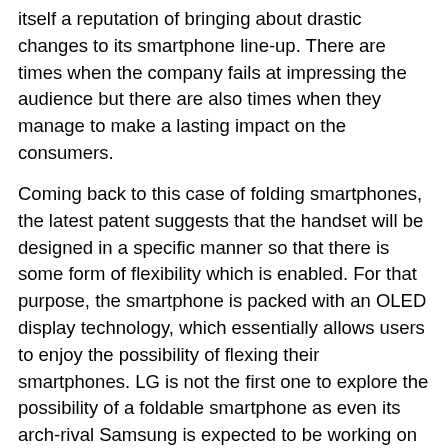itself a reputation of bringing about drastic changes to its smartphone line-up. There are times when the company fails at impressing the audience but there are also times when they manage to make a lasting impact on the consumers.
Coming back to this case of folding smartphones, the latest patent suggests that the handset will be designed in a specific manner so that there is some form of flexibility which is enabled. For that purpose, the smartphone is packed with an OLED display technology, which essentially allows users to enjoy the possibility of flexing their smartphones. LG is not the first one to explore the possibility of a foldable smartphone as even its arch-rival Samsung is expected to be working on a foldable Galaxy X smartphone of their own.
Category: News
Submitted by: Jack Thomas